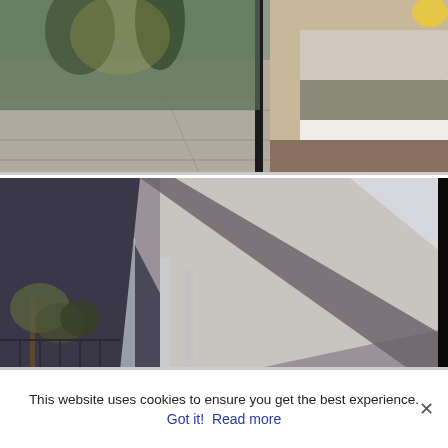[Figure (photo): Interior photo showing a balcony/terrace with large stone tiles, glass wall panels, illuminated trees in background, and a bed visible on the right side.]
[Figure (photo): Architectural photo looking upward at a modern building with glass panels, diagonal structural elements, and bare trees visible in the lower left corner.]
This website uses cookies to ensure you get the best experience.
Got it!  Read more